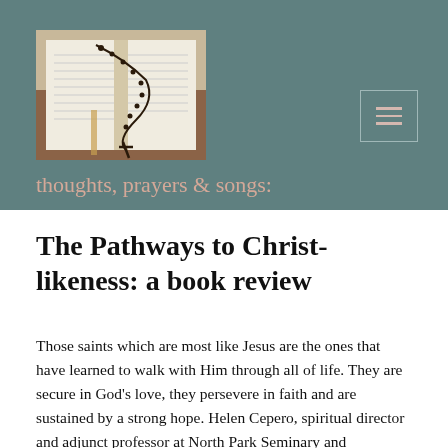[Figure (photo): Photo of an open Bible with a rosary/cross draped over it on a wooden surface]
thoughts, prayers & songs:
The Pathways to Christ-likeness: a book review
Those saints which are most like Jesus are the ones that have learned to walk with Him through all of life. They are secure in God’s love, they persevere in faith and are sustained by a strong hope. Helen Cepero, spiritual director and adjunct professor at North Park Seminary and